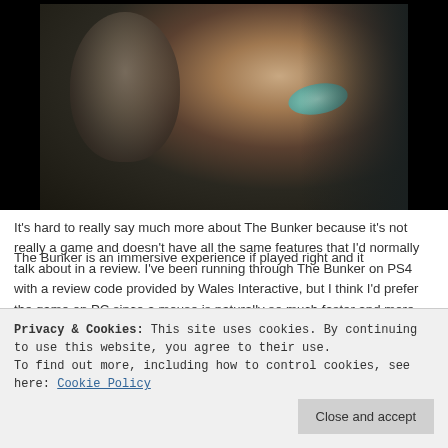[Figure (photo): Cinematic still from The Bunker showing two figures in a dark setting; woman in foreground wearing teal/white collar, man partially visible behind her]
It's hard to really say much more about The Bunker because it's not really a game and doesn't have all the same features that I'd normally talk about in a review. I've been running through The Bunker on PS4 with a review code provided by Wales Interactive, but I think I'd prefer the game on PC since a mouse is naturally so much faster and more accurate to move around than the cursor via the PS4 controller.
The Bunker is an immersive experience if played right and it
and effort that they put in – it's a fair price to ask. So, it's
Privacy & Cookies: This site uses cookies. By continuing to use this website, you agree to their use.
To find out more, including how to control cookies, see here: Cookie Policy
Close and accept